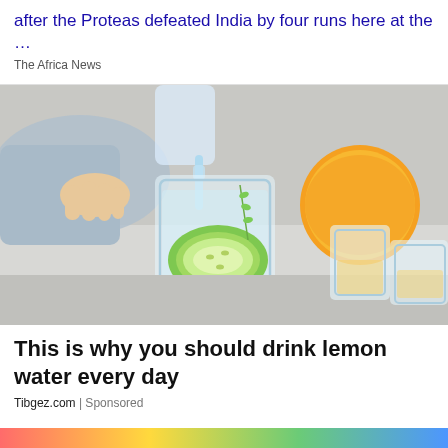after the Proteas defeated India by four runs here at the …
The Africa News
[Figure (photo): A glass of water with a cucumber slice and herbs being poured into it, with a lemon/orange in the background and additional glasses to the right.]
This is why you should drink lemon water every day
Tibgez.com | Sponsored